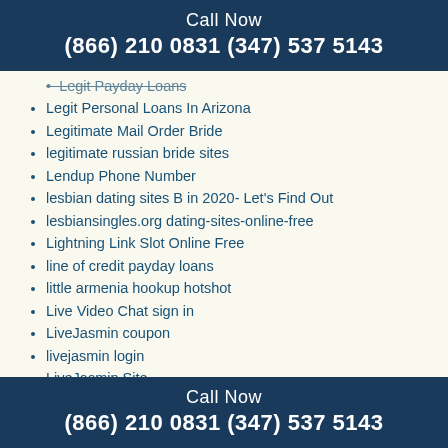Call Now
(866) 210 0831 (347) 537 5143
Legit Payday Loans
Legit Personal Loans In Arizona
Legitimate Mail Order Bride
legitimate russian bride sites
Lendup Phone Number
lesbian dating sites B in 2020- Let's Find Out
lesbiansingles.org dating-sites-online-free
Lightning Link Slot Online Free
line of credit payday loans
little armenia hookup hotshot
Live Video Chat sign in
LiveJasmin coupon
livejasmin login
LiveJasmin Site
Livejasmin.Xom
livelinks login
loan apps like cashnetusa
Call Now
(866) 210 0831 (347) 537 5143